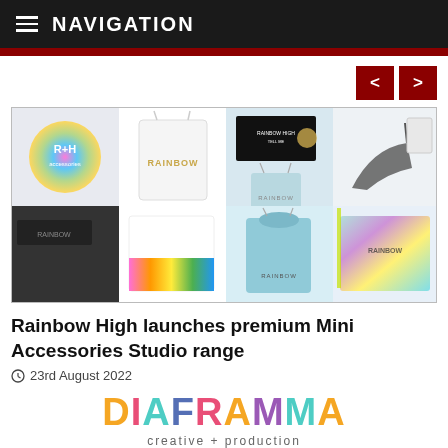NAVIGATION
[Figure (photo): Collage of Rainbow High Mini Accessories Studio products including bags, boxes, and accessories with iridescent packaging]
Rainbow High launches premium Mini Accessories Studio range
23rd August 2022
[Figure (logo): Diaframma creative + production logo in multicolor letters]